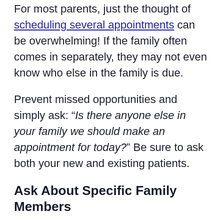For most parents, just the thought of scheduling several appointments can be overwhelming! If the family often comes in separately, they may not even know who else in the family is due.
Prevent missed opportunities and simply ask: “Is there anyone else in your family we should make an appointment for today?” Be sure to ask both your new and existing patients.
Ask About Specific Family Members